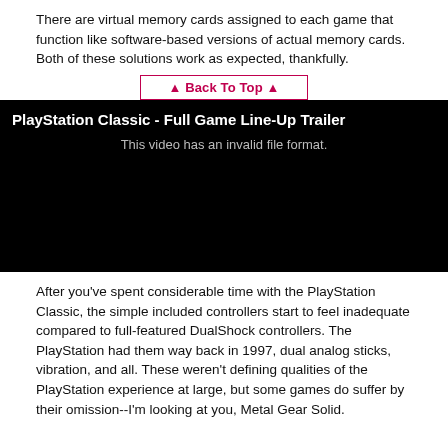There are virtual memory cards assigned to each game that function like software-based versions of actual memory cards. Both of these solutions work as expected, thankfully.
▲ Back To Top ▲
[Figure (screenshot): Black video player embed with title 'PlayStation Classic - Full Game Line-Up Trailer' and error message 'This video has an invalid file format.']
After you've spent considerable time with the PlayStation Classic, the simple included controllers start to feel inadequate compared to full-featured DualShock controllers. The PlayStation had them way back in 1997, dual analog sticks, vibration, and all. These weren't defining qualities of the PlayStation experience at large, but some games do suffer by their omission--I'm looking at you, Metal Gear Solid.